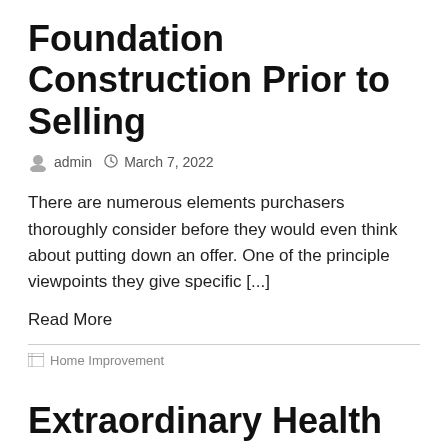Foundation Construction Prior to Selling
admin  March 7, 2022
There are numerous elements purchasers thoroughly consider before they would even think about putting down an offer. One of the principle viewpoints they give specific [...]
Read More
Home Improvement
Extraordinary Health